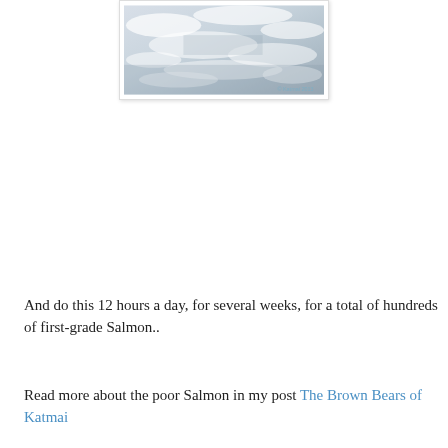[Figure (photo): A photo of churning white water rapids, light gray and white tones, with a small watermark in the bottom right corner. Photo has a white border and faint drop shadow.]
And do this 12 hours a day, for several weeks, for a total of hundreds of first-grade Salmon..
Read more about the poor Salmon in my post The Brown Bears of Katmai